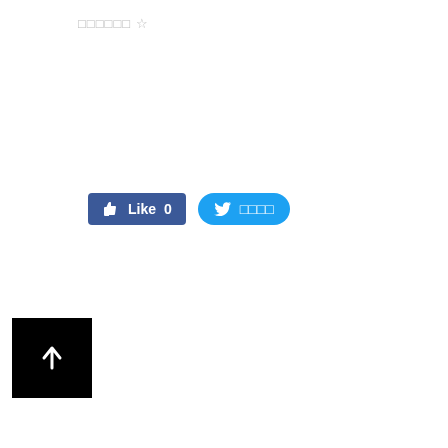□□□□□□ ☆
[Figure (screenshot): Facebook Like button showing 'Like 0' count and a Twitter share button with Japanese text, both in blue]
[Figure (other): Black square button with white upward arrow indicating 'back to top']